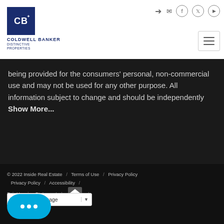[Figure (logo): Coldwell Banker Distinctive Properties logo — dark blue square with CB monogram, company name below]
being provided for the consumers' personal, non-commercial use and may not be used for any other purpose. All information subject to change and should be independently   Show More...
© 2022 Inside Real Estate  /  Terms of Use  /  Privacy Policy  /  Accessibility  /  Fair Housing Statement  /  [Equal Housing Opportunity logo]
[Figure (other): Google Translate language selector widget]
[Figure (other): Blue chat bubble button with three dots]